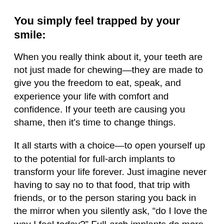You simply feel trapped by your smile:
When you really think about it, your teeth are not just made for chewing—they are made to give you the freedom to eat, speak, and experience your life with comfort and confidence. If your teeth are causing you shame, then it's time to change things.
It all starts with a choice—to open yourself up to the potential for full-arch implants to transform your life forever. Just imagine never having to say no to that food, that trip with friends, or to the person staring you back in the mirror when you silently ask, “do I love the way I feel today?” Full-arch implants do more than restore your ability to eat, communicate